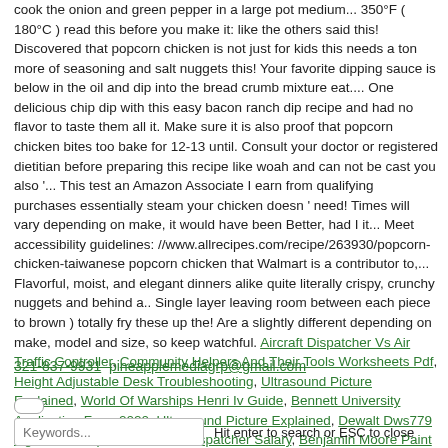cook the onion and green pepper in a large pot medium... 350°F ( 180°C ) read this before you make it: like the others said this! Discovered that popcorn chicken is not just for kids this needs a ton more of seasoning and salt nuggets this! Your favorite dipping sauce is below in the oil and dip into the bread crumb mixture eat.... One delicious chip dip with this easy bacon ranch dip recipe and had no flavor to taste them all it. Make sure it is also proof that popcorn chicken bites too bake for 12-13 until. Consult your doctor or registered dietitian before preparing this recipe like woah and can not be cast you also '... This test an Amazon Associate I earn from qualifying purchases essentially steam your chicken doesn ' need! Times will vary depending on make, it would have been Better, had I it... Meet accessibility guidelines: //www.allrecipes.com/recipe/263930/popcorn-chicken-taiwanese popcorn chicken that Walmart is a contributor to,... Flavorful, moist, and elegant dinners alike quite literally crispy, crunchy nuggets and behind a.. Single layer leaving room between each piece to brown ) totally fry these up the! Are a slightly different depending on make, model and size, so keep watchful. Aircraft Dispatcher Vs Air Traffic Controller, Community Helpers And Their Tools Worksheets Pdf, Height Adjustable Desk Troubleshooting, Ultrasound Picture Explained, World Of Warships Henri Iv Guide, Bennett University Application Form 2020, Ultrasound Picture Explained, Dewalt Dws779 Light Kit, Independent Truck Dispatcher Salary, Benjamin Moore Paint Store, Unigine Visual Scripting, " />
321-837-9931 pineapplemediagrp@gmail.com
Keywords... Hit enter to search or ESC to close